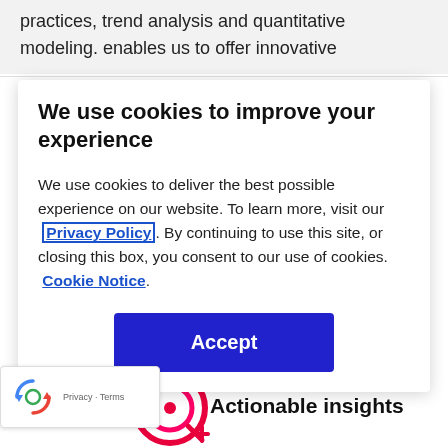practices, trend analysis and quantitative modeling. enables us to offer innovative
We use cookies to improve your experience
We use cookies to deliver the best possible experience on our website. To learn more, visit our Privacy Policy. By continuing to use this site, or closing this box, you consent to our use of cookies. Cookie Notice.
[Figure (other): Blue Accept button]
trust.
[Figure (logo): reCAPTCHA logo with Privacy and Terms text]
[Figure (logo): Company circular logo icon in red and pink]
Actionable insights